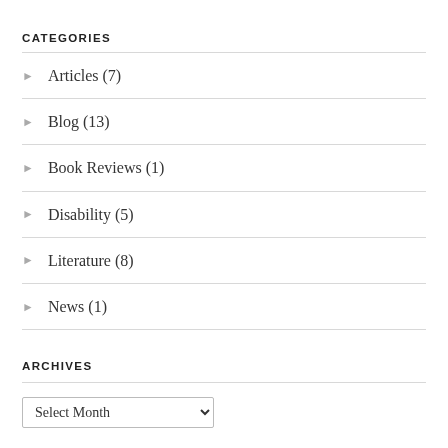CATEGORIES
Articles (7)
Blog (13)
Book Reviews (1)
Disability (5)
Literature (8)
News (1)
ARCHIVES
Select Month